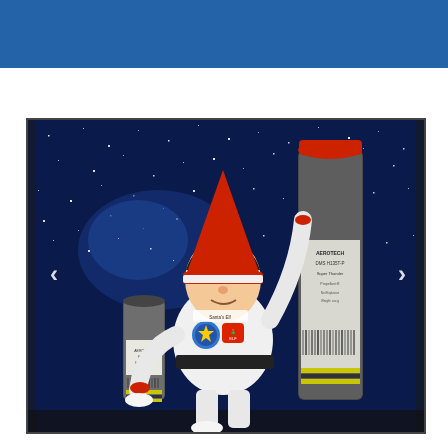[Figure (photo): A blue header bar at the top of the page.]
[Figure (photo): An Elf on the Shelf doll dressed in a white astronaut suit with a red pointed hat, posed in front of a TV screen showing a starry night sky background. The elf holds two large model rocket motors/casings, one in each hand — a smaller one on the left and a larger tall cylindrical one on the right labeled 'AEROTECH DMS H135T-P Super Thunder'. Navigation arrows appear on either side of the image.]